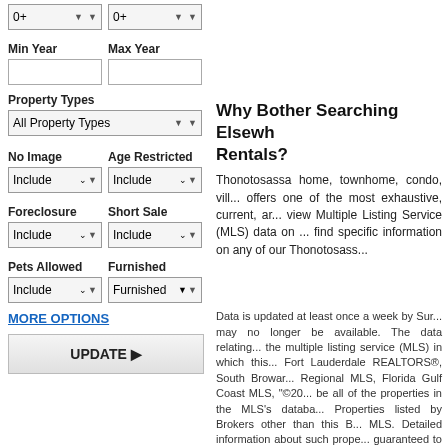0+
0+
Min Year
Max Year
Property Types
All Property Types
No Image
Age Restricted
Include
Include
Foreclosure
Short Sale
Include
Include
Pets Allowed
Furnished
Include
Furnished
MORE OPTIONS
UPDATE ▶
Why Bother Searching Elsewhere for Rentals?
Thonotosassa home, townhome, condo, villa... offers one of the most exhaustive, current, and... view Multiple Listing Service (MLS) data on ... find specific information on any of our Thonotosassa...
Data is updated at least once a week by Sur... may no longer be available. The data relating... the multiple listing service (MLS) in which this... Fort Lauderdale REALTORS®, South Browar... Regional MLS, Florida Gulf Coast MLS, "©20... be all of the properties in the MLS's databa... Properties listed by Brokers other than this B... MLS. Detailed information about such prope... guaranteed to be accurate; you are advised... herein, or for their use or interpretation by the... property data displayed herein and take no... color, religion, sex, handicap, familial status c...
© 202